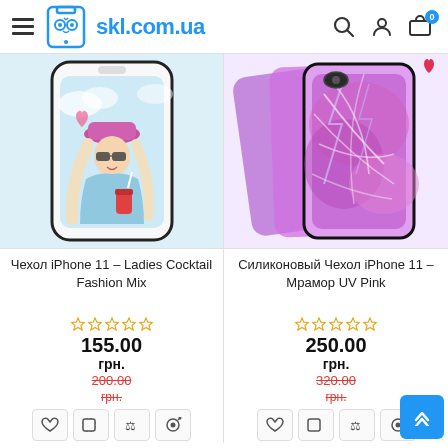skl.com.ua — navigation header with logo, search, account, cart (0 items)
[Figure (photo): iPhone 11 case with Ladies Cocktail Fashion Mix design — illustrated girl with pink hat and sunglasses]
Чехол iPhone 11 – Ladies Cocktail Fashion Mix
[Figure (other): 5 empty star rating icons (yellow outlines)]
155.00
грн.
200.00
грн.
[Figure (photo): iPhone 11 silicone case with Mramor UV Pink flower marble design — three overlapping cases shown]
Силиконовый Чехол iPhone 11 – Мрамор UV Pink
[Figure (other): 5 empty star rating icons (yellow outlines)]
250.00
грн.
320.00
грн.